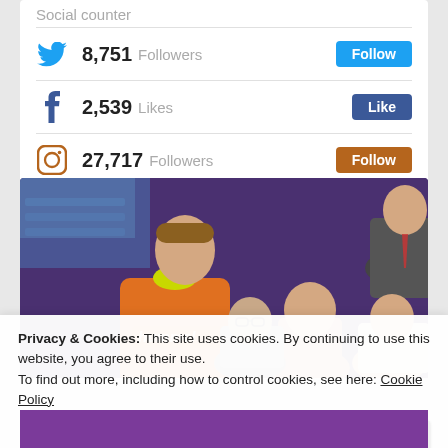Social counter
8,751 Followers
2,539 Likes
27,717 Followers
[Figure (photo): Crowd of people at a sports event, including a man in a yellow/orange hummel sports vest in the foreground and others in the background against a purple/dark backdrop.]
Privacy & Cookies: This site uses cookies. By continuing to use this website, you agree to their use.
To find out more, including how to control cookies, see here: Cookie Policy
Close and accept